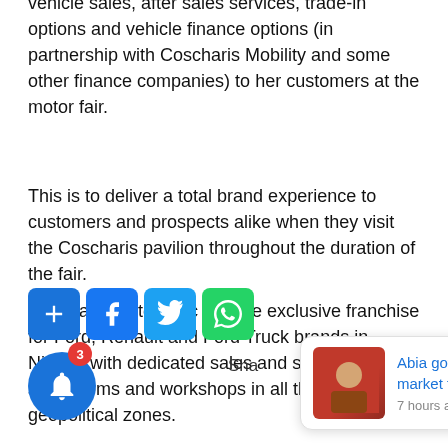vehicle sales, after sales services, trade-in options and vehicle finance options (in partnership with Coscharis Mobility and some other finance companies) to her customers at the motor fair.
This is to deliver a total brand experience to customers and prospects alike when they visit the Coscharis pavilion throughout the duration of the fair.
Coscharis Motors Plc has the exclusive franchise for Ford, Renault and Ford Truck brands in Nigeria with dedicated sales and service showrooms and workshops in all the six geopolitical zones.
[Figure (screenshot): Social media share buttons (add, Facebook, Twitter, WhatsApp), share text, bell notification icon with badge showing 3, and a notification popup card showing 'Abia govt promises to remodel Ariaria market to' with thumbnail image and '7 hours ago' timestamp.]
Abia govt promises to remodel Ariaria market to
7 hours ago